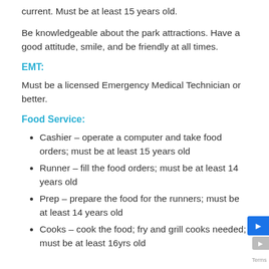current. Must be at least 15 years old.
Be knowledgeable about the park attractions. Have a good attitude, smile, and be friendly at all times.
EMT:
Must be a licensed Emergency Medical Technician or better.
Food Service:
Cashier – operate a computer and take food orders; must be at least 15 years old
Runner – fill the food orders; must be at least 14 years old
Prep – prepare the food for the runners; must be at least 14 years old
Cooks – cook the food; fry and grill cooks needed; must be at least 16yrs old